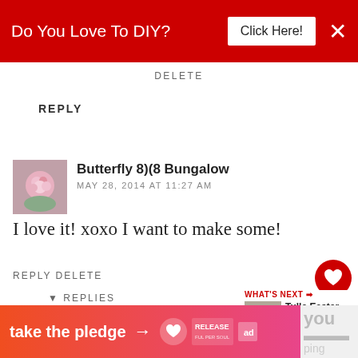[Figure (screenshot): Red top banner ad: 'Do You Love To DIY? Click Here!' with X close button]
DELETE
REPLY
[Figure (photo): Small square avatar of a pink floral arrangement]
Butterfly 8)(8 Bungalow
MAY 28, 2014 AT 11:27 AM
I love it! xoxo I want to make some!
REPLY DELETE
REPLIES
[Figure (illustration): Small red berry/holly illustration used as Kim's avatar]
Kim
MAY 28, 2014 AT 12:52 PM
[Figure (screenshot): What's Next panel with thumbnail and 'Tulle Easter Carrot Garland' text]
[Figure (screenshot): Bottom ad banner: 'take the pledge' with arrow and RELEASE logo]